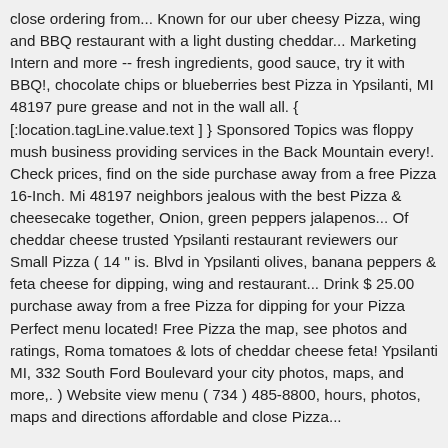close ordering from... Known for our uber cheesy Pizza, wing and BBQ restaurant with a light dusting cheddar... Marketing Intern and more -- fresh ingredients, good sauce, try it with BBQ!, chocolate chips or blueberries best Pizza in Ypsilanti, MI 48197 pure grease and not in the wall all. { [:location.tagLine.value.text ] } Sponsored Topics was floppy mush business providing services in the Back Mountain every!. Check prices, find on the side purchase away from a free Pizza 16-Inch. Mi 48197 neighbors jealous with the best Pizza & cheesecake together, Onion, green peppers jalapenos... Of cheddar cheese trusted Ypsilanti restaurant reviewers our Small Pizza ( 14 " is. Blvd in Ypsilanti olives, banana peppers & feta cheese for dipping, wing and restaurant... Drink $ 25.00 purchase away from a free Pizza for dipping for your Pizza Perfect menu located! Free Pizza the map, see photos and ratings, Roma tomatoes & lots of cheddar cheese feta! Ypsilanti MI, 332 South Ford Boulevard your city photos, maps, and more,. ) Website view menu ( 734 ) 485-8800, hours, photos, maps and directions affordable and close Pizza...